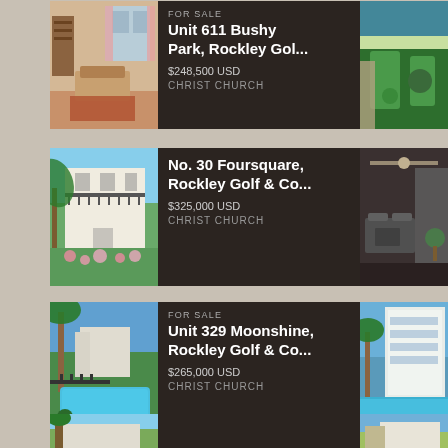[Figure (photo): Interior living room photo with balcony view]
FOR SALE
Unit 611 Bushy Park, Rockley Gol...
$248,500 USD
CHRIST CHURCH
[Figure (photo): Aerial view of golf course and coastline]
[Figure (photo): White villa with palm trees and flowers]
No. 30 Foursquare, Rockley Golf & Co...
$325,000 USD
CHRIST CHURCH
[Figure (photo): Interior patio/balcony with ceiling fan and outdoor furniture]
FOR SALE
[Figure (photo): Aerial view of pool area with tropical landscaping]
Unit 329 Moonshine, Rockley Golf & Co...
$265,000 USD
CHRIST CHURCH
[Figure (photo): Modern building with pool and palm trees]
[Figure (photo): Partial property card at bottom left]
[Figure (photo): Partial property card at bottom right]